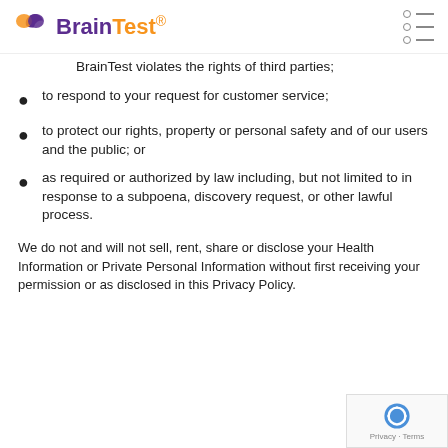BrainTest®
BrainTest violates the rights of third parties;
to respond to your request for customer service;
to protect our rights, property or personal safety and of our users and the public; or
as required or authorized by law including, but not limited to in response to a subpoena, discovery request, or other lawful process.
We do not and will not sell, rent, share or disclose your Health Information or Private Personal Information without first receiving your permission or as disclosed in this Privacy Policy.